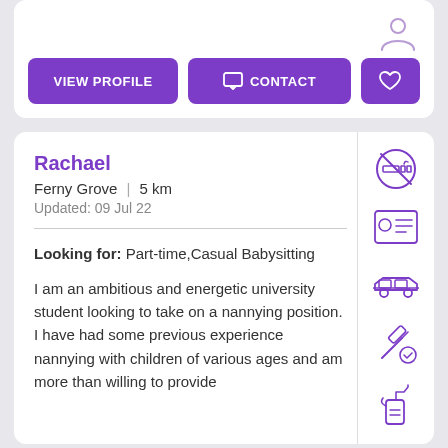[Figure (screenshot): Top card fragment with person icon and action buttons: VIEW PROFILE, CONTACT, heart]
Rachael
Ferny Grove | 5 km
Updated: 09 Jul 22
Looking for: Part-time,Casual Babysitting
I am an ambitious and energetic university student looking to take on a nannying position. I have had some previous experience nannying with children of various ages and am more than willing to provide